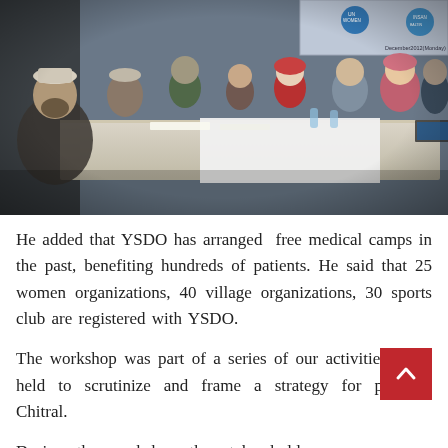[Figure (photo): Group of people (men and women) seated around a long conference table at a workshop. A banner in the background reads 'UN Women' and 'INSAN' with a date 'December 2012 (Monday)'. Participants appear to be in discussion.]
He added that YSDO has arranged free medical camps in the past, benefiting hundreds of patients. He said that 25 women organizations, 40 village organizations, 30 sports club are registered with YSDO.
The workshop was part of a series of our activities being held to scrutinize and frame a strategy for peaceful Chitral.
During the workshop the stake holders expressed